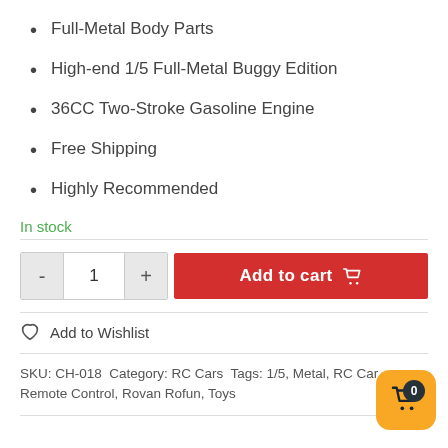Full-Metal Body Parts
High-end 1/5 Full-Metal Buggy Edition
36CC Two-Stroke Gasoline Engine
Free Shipping
Highly Recommended
In stock
Add to cart
Add to Wishlist
SKU: CH-018 Category: RC Cars Tags: 1/5, Metal, RC Car, Remote Control, Rovan Rofun, Toys